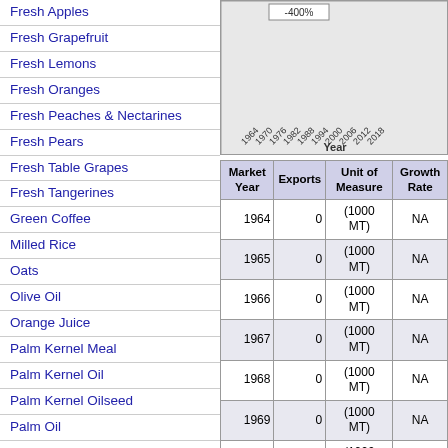Fresh Apples
Fresh Grapefruit
Fresh Lemons
Fresh Oranges
Fresh Peaches & Nectarines
Fresh Pears
Fresh Table Grapes
Fresh Tangerines
Green Coffee
Milled Rice
Oats
Olive Oil
Orange Juice
Palm Kernel Meal
Palm Kernel Oil
Palm Kernel Oilseed
Palm Oil
Peanut Meal
Peanut Oil
Peanut Oilseed
Rye
Sorghum
Soybean (Local) Meal
Soybean (Local) Oil
Soybean Meal
[Figure (continuous-plot): Partial line chart showing year axis (1964-2018) and a -400% label visible, with year labels on x-axis rotated diagonally]
| Market Year | Exports | Unit of Measure | Growth Rate |
| --- | --- | --- | --- |
| 1964 | 0 | (1000 MT) | NA |
| 1965 | 0 | (1000 MT) | NA |
| 1966 | 0 | (1000 MT) | NA |
| 1967 | 0 | (1000 MT) | NA |
| 1968 | 0 | (1000 MT) | NA |
| 1969 | 0 | (1000 MT) | NA |
| 1970 | 0 | (1000 MT) | NA |
| 1971 | 0 | (1000 MT) | NA |
| 1972 | 0 | (1000 MT) | NA |